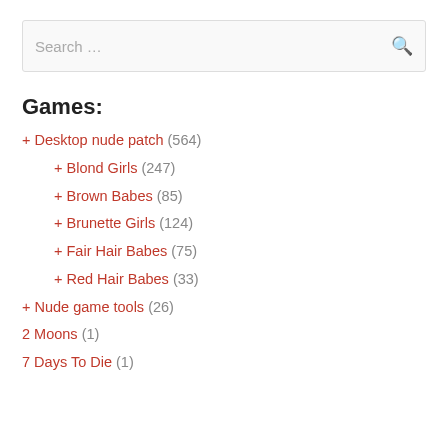Search …
Games:
+ Desktop nude patch (564)
+ Blond Girls (247)
+ Brown Babes (85)
+ Brunette Girls (124)
+ Fair Hair Babes (75)
+ Red Hair Babes (33)
+ Nude game tools (26)
2 Moons (1)
7 Days To Die (1)